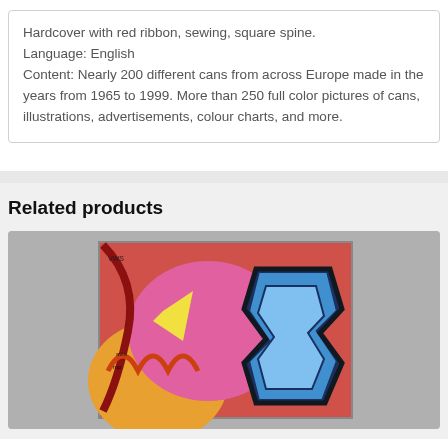Hardcover with red ribbon, sewing, square spine. Language: English Content: Nearly 200 different cans from across Europe made in the years from 1965 to 1999. More than 250 full color pictures of cans, illustrations, advertisements, colour charts, and more.
Related products
[Figure (photo): A book cover featuring colorful graffiti art with blue, pink, red, orange, and yellow tones against a gray background]